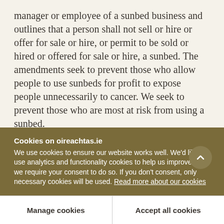manager or employee of a sunbed business and outlines that a person shall not sell or hire or offer for sale or hire, or permit to be sold or hired or offered for sale or hire, a sunbed. The amendments seek to prevent those who allow people to use sunbeds for profit to expose people unnecessarily to cancer. We seek to prevent those who are most at risk from using a sunbed.
The Minister said he did not want the legislation to appear to be indicative of a nanny state. He referred
Cookies on oireachtas.ie
We use cookies to ensure our website works well. We'd like to use analytics and functionality cookies to help us improve it but we require your consent to do so. If you don't consent, only necessary cookies will be used. Read more about our cookies
Manage cookies
Accept all cookies